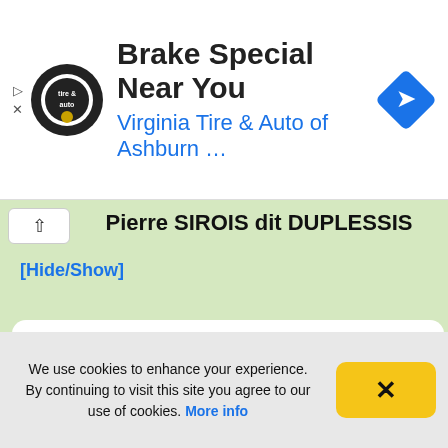[Figure (screenshot): Advertisement banner for Virginia Tire & Auto of Ashburn with logo and navigation icon]
Pierre SIROIS dit DUPLESSIS
[Hide/Show]
[Figure (infographic): White card showing marriage record: Pierre SIROIS dit DUPLESSIS married Marie-Anne MICHAUD -- Date: 10 January 1757 Place: Kamouraska, Canada, New France, with crossed Canadian and Quebec flags and female silhouette icons]
We use cookies to enhance your experience. By continuing to visit this site you agree to our use of cookies. More info